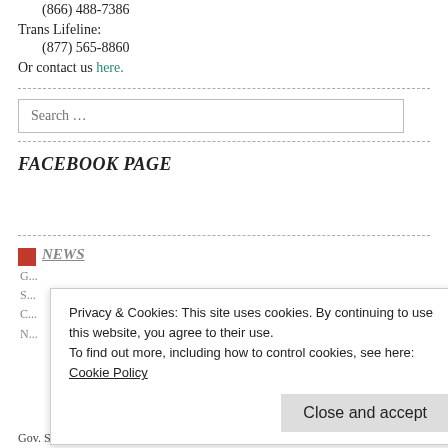(866) 488-7386
Trans Lifeline:
(877) 565-8860
Or contact us here.
FACEBOOK PAGE
NEWS
Privacy & Cookies: This site uses cookies. By continuing to use this website, you agree to their use.
To find out more, including how to control cookies, see here: Cookie Policy
Close and accept
Gov. Spencer Cox says he would back a bill requiring closets to report child